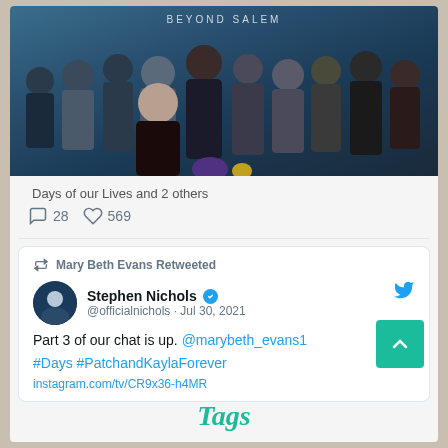[Figure (photo): Promotional cast photo for Days of our Lives: Beyond Salem TV show, group of actors posed against a blue-teal background]
Days of our Lives and 2 others
28    569
Mary Beth Evans Retweeted
Stephen Nichols @officialnichols · Jul 30, 2021
Part 3 of our chat is up. @marybeth_evans1 #Days #PatchandKaylaForever
instagram.com/tv/CR9x36-h4MR
Tags